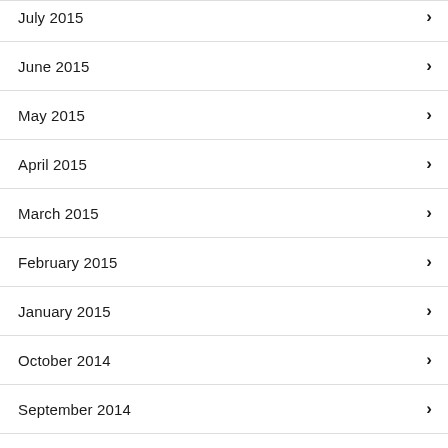July 2015
June 2015
May 2015
April 2015
March 2015
February 2015
January 2015
October 2014
September 2014
January 2014